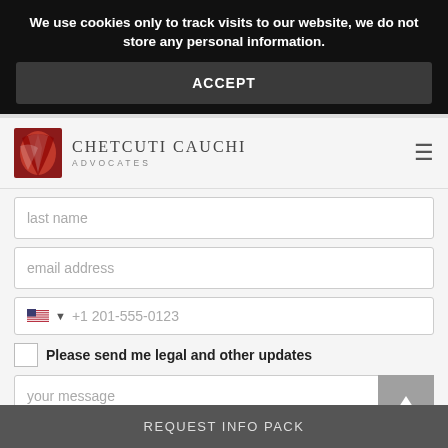We use cookies only to track visits to our website, we do not store any personal information.
ACCEPT
[Figure (logo): Chetcuti Cauchi Advocates logo with stylized red and white emblem]
last name
email address
+1 201-555-0123
Please send me legal and other updates
your message
Kindly tick the tickbox below
REQUEST INFO PACK